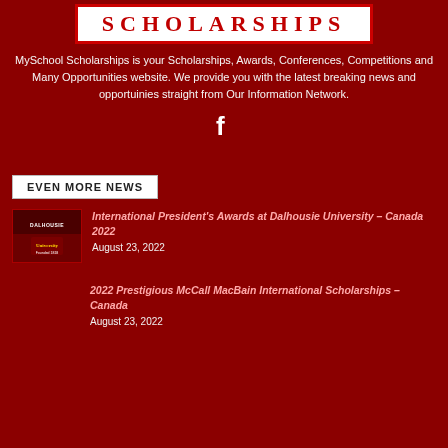[Figure (logo): MySchool Scholarships banner/logo with red background and white text reading SCHOLARSHIPS in capital letters with letter-spacing]
MySchool Scholarships is your Scholarships, Awards, Conferences, Competitions and Many Opportunities website. We provide you with the latest breaking news and opportuinies straight from Our Information Network.
[Figure (illustration): Facebook 'f' social media icon in white]
EVEN MORE NEWS
[Figure (photo): Thumbnail image of Dalhousie University with logo]
International President's Awards at Dalhousie University – Canada 2022
August 23, 2022
2022 Prestigious McCall MacBain International Scholarships – Canada
August 23, 2022